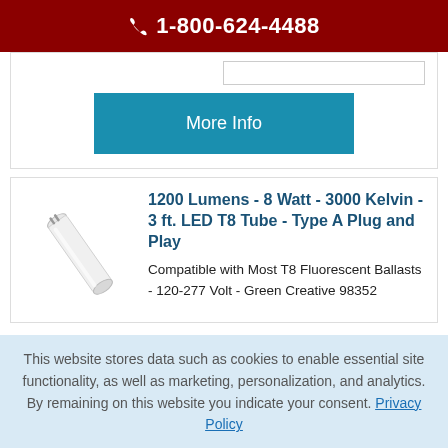1-800-624-4488
[Figure (other): More Info button (teal/blue background)]
[Figure (photo): White LED T8 tube light on white background]
1200 Lumens - 8 Watt - 3000 Kelvin - 3 ft. LED T8 Tube - Type A Plug and Play
Compatible with Most T8 Fluorescent Ballasts - 120-277 Volt - Green Creative 98352
This website stores data such as cookies to enable essential site functionality, as well as marketing, personalization, and analytics. By remaining on this website you indicate your consent. Privacy Policy